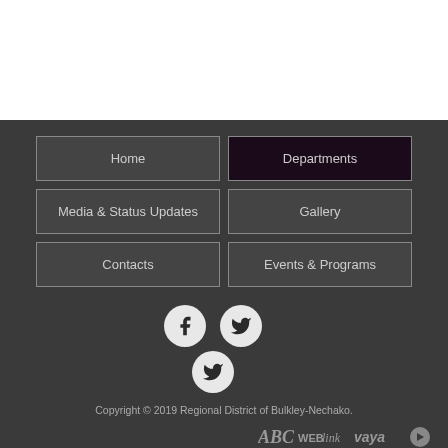Home
Departments
Media & Status Updates
Gallery
Contacts
Events & Programs
[Figure (logo): Social media icons: Facebook and two Twitter bird icons arranged in a triangular cluster]
Copyright © 2019 Regional District of Bulkley-Nechako.
[Figure (logo): ABCWEBlink and vaya logos with play button icon]